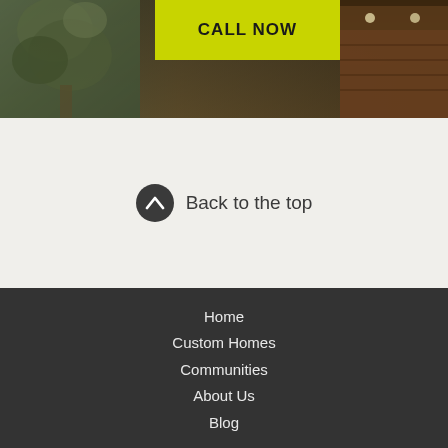[Figure (photo): Hero section with dark exterior building photo showing trees on left and warm-lit wooden facade on right, with a bright yellow-green CALL NOW button overlay]
CALL NOW
Back to the top
Home
Custom Homes
Communities
About Us
Blog